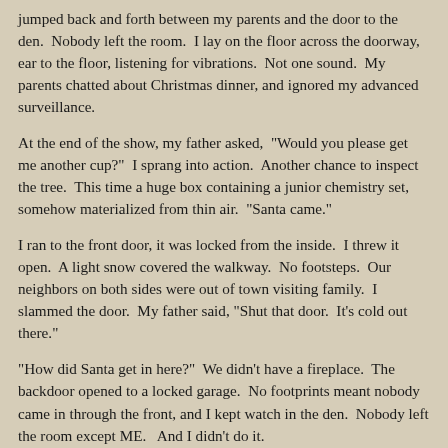jumped back and forth between my parents and the door to the den.  Nobody left the room.  I lay on the floor across the doorway, ear to the floor, listening for vibrations.  Not one sound.  My parents chatted about Christmas dinner, and ignored my advanced surveillance.
At the end of the show, my father asked,  "Would you please get me another cup?"  I sprang into action.  Another chance to inspect the tree.  This time a huge box containing a junior chemistry set, somehow materialized from thin air.  "Santa came."
I ran to the front door, it was locked from the inside.  I threw it open.  A light snow covered the walkway.  No footsteps.  Our neighbors on both sides were out of town visiting family.  I slammed the door.  My father said, "Shut that door.  It's cold out there."
"How did Santa get in here?"  We didn't have a fireplace.  The backdoor opened to a locked garage.  No footprints meant nobody came in through the front, and I kept watch in the den.  Nobody left the room except ME.   And I didn't do it.